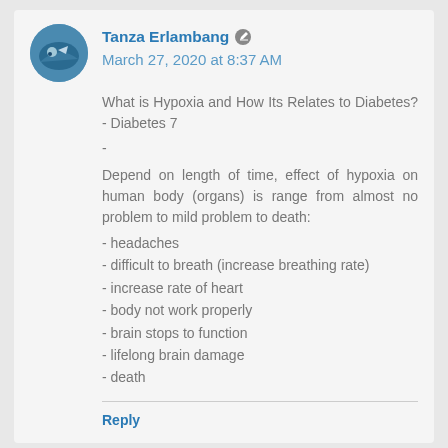Tanza Erlambang  March 27, 2020 at 8:37 AM
What is Hypoxia and How Its Relates to Diabetes? - Diabetes 7
-
Depend on length of time, effect of hypoxia on human body (organs) is range from almost no problem to mild problem to death:
- headaches
- difficult to breath (increase breathing rate)
- increase rate of heart
- body not work properly
- brain stops to function
- lifelong brain damage
- death
Reply
The Armchair Squid  October 13, 2019 at 3:43 PM